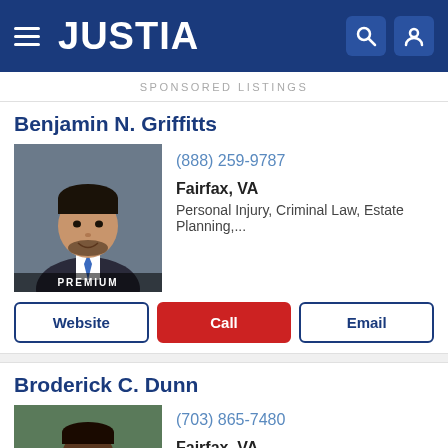JUSTIA
SPONSORED LISTINGS
Benjamin N. Griffitts
[Figure (photo): Professional headshot of Benjamin N. Griffitts, a man in a dark suit with a blue tie, smiling. Badge at bottom reads PREMIUM.]
(888) 259-9787
Fairfax, VA
Personal Injury, Criminal Law, Estate Planning,...
Broderick C. Dunn
[Figure (photo): Professional headshot of Broderick C. Dunn, a man in a dark suit with a pink tie, smiling.]
(703) 865-7480
Fairfax, VA
Employment Law, Business Law, Landlord Ten...